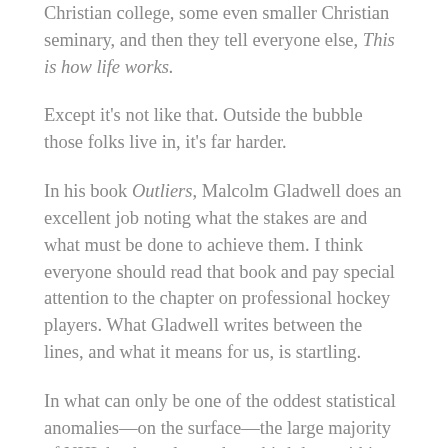Christian college, some even smaller Christian seminary, and then they tell everyone else, This is how life works.
Except it's not like that. Outside the bubble those folks live in, it's far harder.
In his book Outliers, Malcolm Gladwell does an excellent job noting what the stakes are and what must be done to achieve them. I think everyone should read that book and pay special attention to the chapter on professional hockey players. What Gladwell writes between the lines, and what it means for us, is startling.
In what can only be one of the oddest statistical anomalies—on the surface—the large majority of NHL hockey players have birthdays within the first three months of the